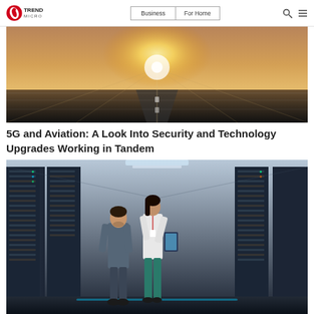Trend Micro | Business | For Home
[Figure (photo): Aerial view of an airport runway illuminated by bright light, futuristic technology overlay]
5G and Aviation: A Look Into Security and Technology Upgrades Working in Tandem
[Figure (photo): Two professionals standing in a server room/data center corridor reviewing a tablet]